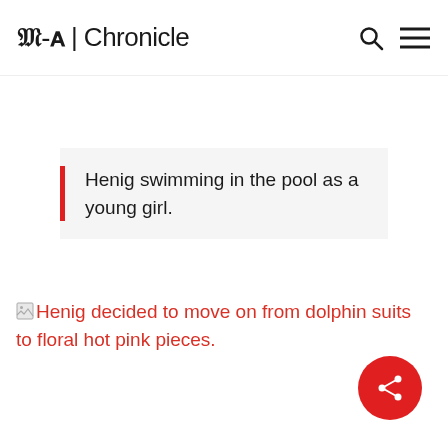M-A | Chronicle
Henig swimming in the pool as a young girl.
Henig decided to move on from dolphin suits to floral hot pink pieces.